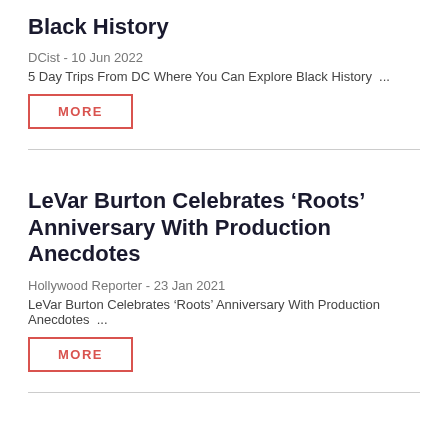Black History
DCist - 10 Jun 2022
5 Day Trips From DC Where You Can Explore Black History …
MORE
LeVar Burton Celebrates ‘Roots’ Anniversary With Production Anecdotes
Hollywood Reporter - 23 Jan 2021
LeVar Burton Celebrates ‘Roots’ Anniversary With Production Anecdotes …
MORE